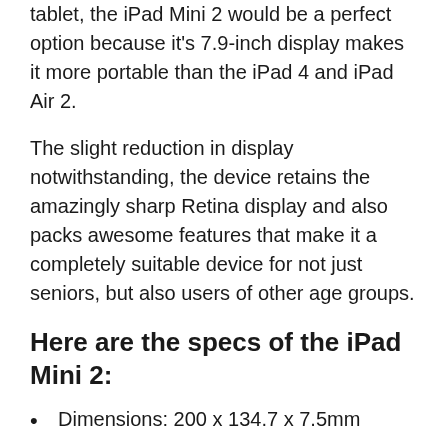tablet, the iPad Mini 2 would be a perfect option because it's 7.9-inch display makes it more portable than the iPad 4 and iPad Air 2.
The slight reduction in display notwithstanding, the device retains the amazingly sharp Retina display and also packs awesome features that make it a completely suitable device for not just seniors, but also users of other age groups.
Here are the specs of the iPad Mini 2:
Dimensions: 200 x 134.7 x 7.5mm
Display: 7.9-inches, 2048 x 1536 pixels, 264 ppi
OS: iOS 7.0 – iOS 9.3.5